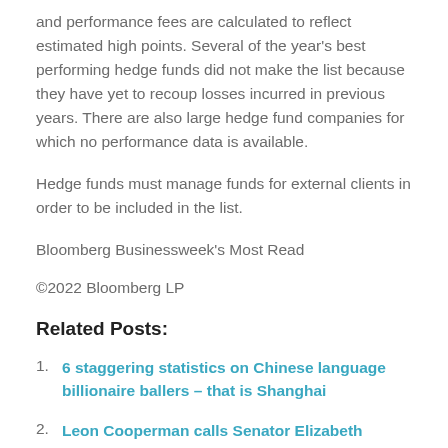and performance fees are calculated to reflect estimated high points. Several of the year's best performing hedge funds did not make the list because they have yet to recoup losses incurred in previous years. There are also large hedge fund companies for which no performance data is available.
Hedge funds must manage funds for external clients in order to be included in the list.
Bloomberg Businessweek's Most Read
©2022 Bloomberg LP
Related Posts:
6 staggering statistics on Chinese language billionaire ballers – that is Shanghai
Leon Cooperman calls Senator Elizabeth Warren's